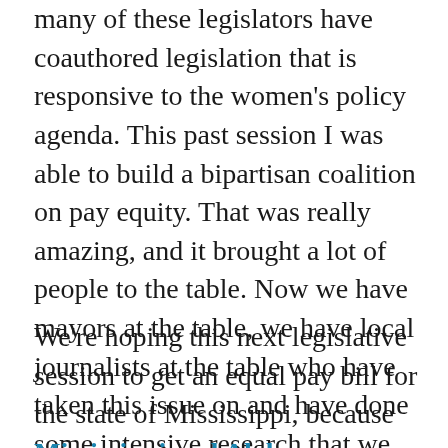many of these legislators have coauthored legislation that is responsive to the women's policy agenda. This past session I was able to build a bipartisan coalition on pay equity. That was really amazing, and it brought a lot of people to the table. Now we have mayors at the table, we have local journalists at the table who have taken this issue on and have done some intensive research that we have been able to use as an advocacy tool.
We're hoping this next legislative session to get an equal pay bill for the state of Mississippi, because Mississippi and Alabama are the only two states that do not have an equal pay law on the books.